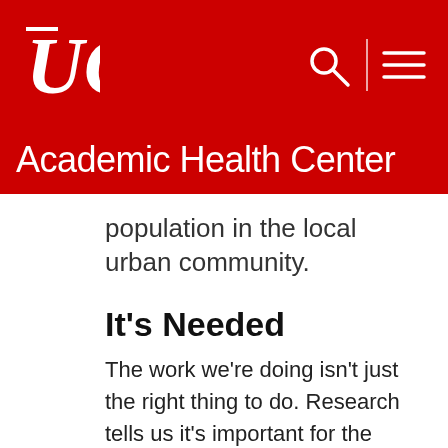Academic Health Center
population in the local urban community.
It's Needed
The work we're doing isn't just the right thing to do. Research tells us it's important for the health of the people we serve.